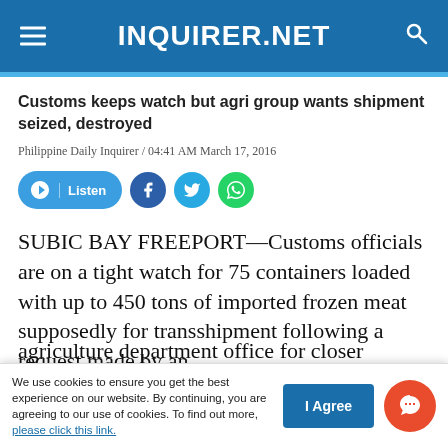INQUIRER.NET
Customs keeps watch but agri group wants shipment seized, destroyed
Philippine Daily Inquirer / 04:41 AM March 17, 2016
[Figure (infographic): Social sharing buttons row: Listen button (blue pill), Facebook icon (blue circle), Twitter icon (light blue circle), WhatsApp icon (green circle)]
SUBIC BAY FREEPORT—Customs officials are on a tight watch for 75 containers loaded with up to 450 tons of imported frozen meat supposedly for transshipment following a request made by an agriculture department office for closer
We use cookies to ensure you get the best experience on our website. By continuing, you are agreeing to our use of cookies. To find out more, please click this link.